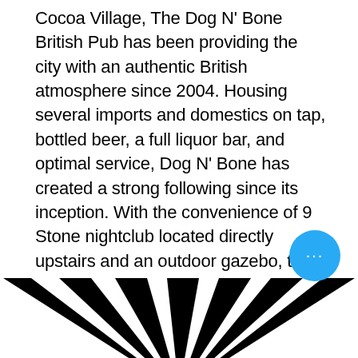Cocoa Village, The Dog N' Bone British Pub has been providing the city with an authentic British atmosphere since 2004. Housing several imports and domestics on tap, bottled beer, a full liquor bar, and optimal service, Dog N' Bone has created a strong following since its inception. With the convenience of 9 Stone nightclub located directly upstairs and an outdoor gazebo, the Pub has the unique opportunity to provide a variety of functions for the community to enjoy, including karaoke, trivia, and live music from an array of genres. So come on over, grab a drink and check out our daily drink specials and nightly events.
[Figure (illustration): Black and white sunburst/radial stripe pattern at the bottom of the page]